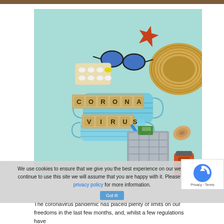[Figure (photo): Flatlay photo on light teal background showing a face mask with Scrabble tiles spelling CORONA VIRUS, sunglasses, a starfish, a straw hat, blister pack of pills, a blue thermometer, a silver passport holder with postcards, a seashell, and an orange suitcase handle]
We use cookies to ensure that we give you the best experience on our website. If you continue to use this site we will assume that you are happy with it. Please refer to our privacy policy for more information.
The coronavirus pandemic has placed plenty of limits on our freedoms in the last few months, and, whilst a few regulations have